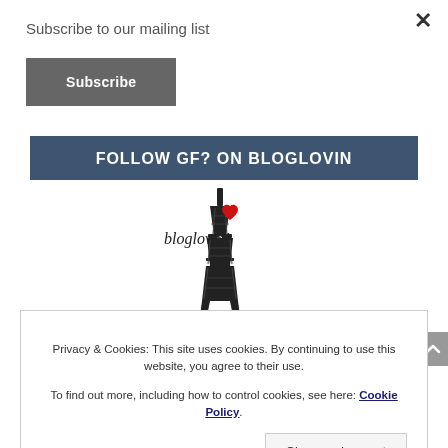Subscribe to our mailing list
Subscribe
FOLLOW GF? ON BLOGLOVIN
[Figure (logo): Bloglovin logo with Eiffel Tower illustration and red heart, text reading bloglovin']
Privacy & Cookies: This site uses cookies. By continuing to use this website, you agree to their use. To find out more, including how to control cookies, see here: Cookie Policy
Close and accept